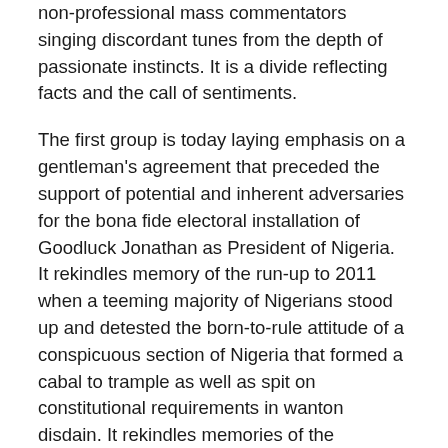non-professional mass commentators singing discordant tunes from the depth of passionate instincts. It is a divide reflecting facts and the call of sentiments.
The first group is today laying emphasis on a gentleman's agreement that preceded the support of potential and inherent adversaries for the bona fide electoral installation of Goodluck Jonathan as President of Nigeria. It rekindles memory of the run-up to 2011 when a teeming majority of Nigerians stood up and detested the born-to-rule attitude of a conspicuous section of Nigeria that formed a cabal to trample as well as spit on constitutional requirements in wanton disdain. It rekindles memories of the instrumental role played by Olusegun Obasanjo in the intended or unintended consequence of a Southern Vice President having to take the reins of power from a handpicked ailing President, who died prematurely. There was a wide